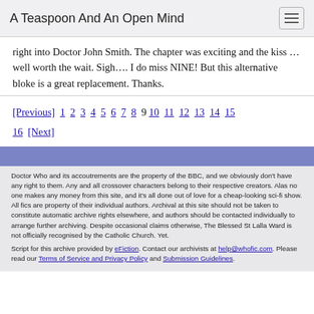A Teaspoon And An Open Mind
right into Doctor John Smith. The chapter was exciting and the kiss … well worth the wait. Sigh…. I do miss NINE! But this alternative bloke is a great replacement. Thanks.
[Previous] 1 2 3 4 5 6 7 8 9 10 11 12 13 14 15 16 [Next]
Doctor Who and its accoutrements are the property of the BBC, and we obviously don't have any right to them. Any and all crossover characters belong to their respective creators. Alas no one makes any money from this site, and it's all done out of love for a cheap-looking sci-fi show. All fics are property of their individual authors. Archival at this site should not be taken to constitute automatic archive rights elsewhere, and authors should be contacted individually to arrange further archiving. Despite occasional claims otherwise, The Blessed St Lalla Ward is not officially recognised by the Catholic Church. Yet.
Script for this archive provided by eFiction. Contact our archivists at help@whofic.com. Please read our Terms of Service and Privacy Policy and Submission Guidelines.